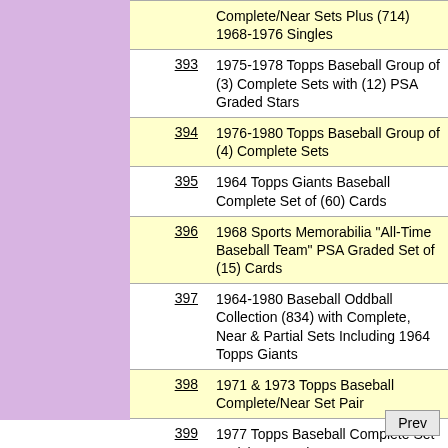| Lot | Description |
| --- | --- |
| — | Complete/Near Sets Plus (714) 1968-1976 Singles |
| 393 | 1975-1978 Topps Baseball Group of (3) Complete Sets with (12) PSA Graded Stars |
| 394 | 1976-1980 Topps Baseball Group of (4) Complete Sets |
| 395 | 1964 Topps Giants Baseball Complete Set of (60) Cards |
| 396 | 1968 Sports Memorabilia "All-Time Baseball Team" PSA Graded Set of (15) Cards |
| 397 | 1964-1980 Baseball Oddball Collection (834) with Complete, Near & Partial Sets Including 1964 Topps Giants |
| 398 | 1971 & 1973 Topps Baseball Complete/Near Set Pair |
| 399 | 1977 Topps Baseball Complete Set on (5) Uncut Sheets |
| 400 | 1981 Topps & Donruss Baseball Uncut Sheets (12) with Sets |